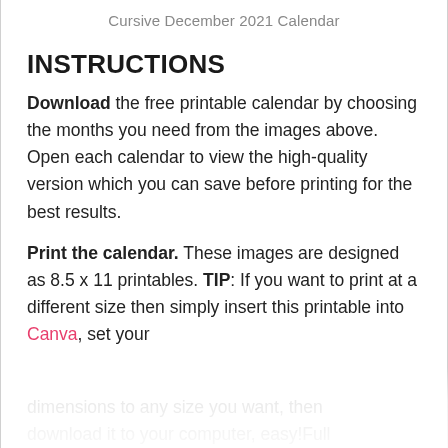Cursive December 2021 Calendar
INSTRUCTIONS
Download the free printable calendar by choosing the months you need from the images above. Open each calendar to view the high-quality version which you can save before printing for the best results.
Print the calendar. These images are designed as 8.5 x 11 printables. TIP: If you want to print at a different size then simply insert this printable into Canva, set your dimensions to any size you want, then download it to your computer, easy!Full